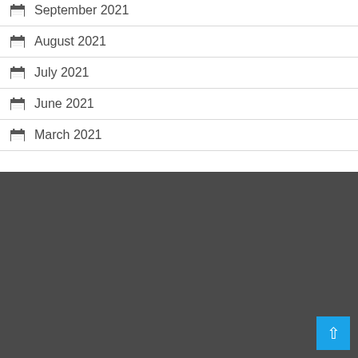September 2021
August 2021
July 2021
June 2021
March 2021